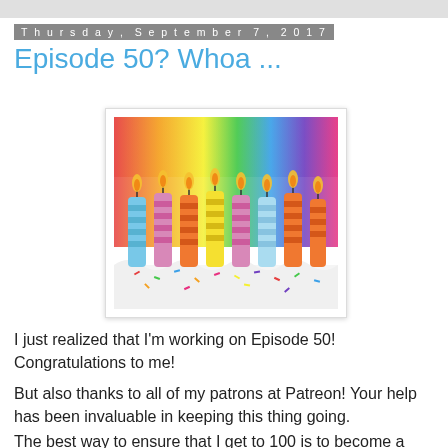Thursday, September 7, 2017
Episode 50? Whoa ...
[Figure (photo): Birthday cake with colorful lit candles (blue, red/orange striped, yellow, purple, orange) on white frosting with rainbow sprinkles, against a rainbow background]
I just realized that I'm working on Episode 50! Congratulations to me!
But also thanks to all of my patrons at Patreon! Your help has been invaluable in keeping this thing going.
The best way to ensure that I get to 100 is to become a